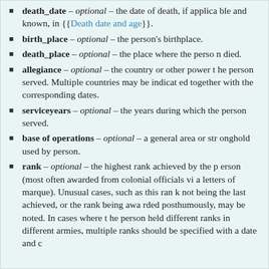death_date – optional – the date of death, if applicable and known, in {{Death date and age}}.
birth_place – optional – the person's birthplace.
death_place – optional – the place where the person died.
allegiance – optional – the country or other power the person served. Multiple countries may be indicated together with the corresponding dates.
serviceyears – optional – the years during which the person served.
base of operations – optional – a general area or stronghold used by person.
rank – optional – the highest rank achieved by the person (most often awarded from colonial officials via letters of marque). Unusual cases, such as this rank not being the last achieved, or the rank being awarded posthumously, may be noted. In cases where the person held different ranks in different armies, multiple ranks should be specified with a date and c...